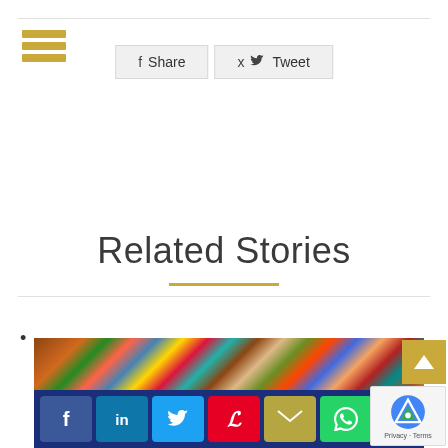[Figure (logo): Gold hamburger menu icon with three horizontal bars]
f  Share   🐦  Tweet
Related Stories
[Figure (photo): A pile of colorful newspapers and magazines with a social media sharing bar overlay showing Facebook, LinkedIn, Twitter, Pinterest, Email, and WhatsApp buttons]